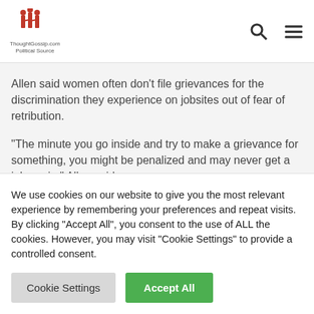ThoughtGossip.com - Political Source
Allen said women often don't file grievances for the discrimination they experience on jobsites out of fear of retribution.
“The minute you go inside and try to make a grievance for something, you might be penalized and may never get a job again,” Allen said.
Women in general are held to a different standard
We use cookies on our website to give you the most relevant experience by remembering your preferences and repeat visits. By clicking “Accept All”, you consent to the use of ALL the cookies. However, you may visit “Cookie Settings” to provide a controlled consent.